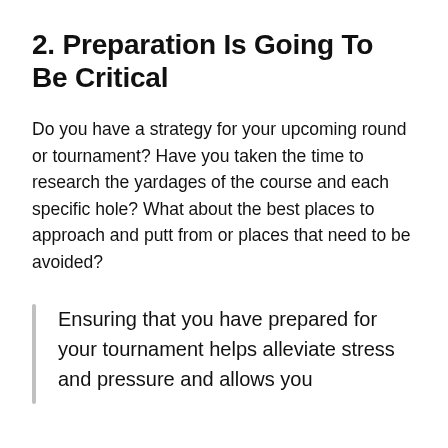2. Preparation Is Going To Be Critical
Do you have a strategy for your upcoming round or tournament? Have you taken the time to research the yardages of the course and each specific hole? What about the best places to approach and putt from or places that need to be avoided?
Ensuring that you have prepared for your tournament helps alleviate stress and pressure and allows you